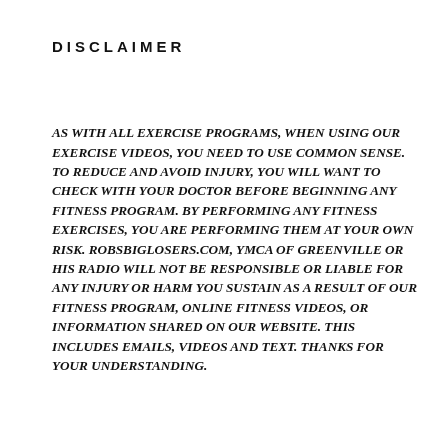DISCLAIMER
AS WITH ALL EXERCISE PROGRAMS, WHEN USING OUR EXERCISE VIDEOS, YOU NEED TO USE COMMON SENSE. TO REDUCE AND AVOID INJURY, YOU WILL WANT TO CHECK WITH YOUR DOCTOR BEFORE BEGINNING ANY FITNESS PROGRAM. BY PERFORMING ANY FITNESS EXERCISES, YOU ARE PERFORMING THEM AT YOUR OWN RISK. ROBSBIGLOSERS.COM, YMCA OF GREENVILLE OR HIS RADIO WILL NOT BE RESPONSIBLE OR LIABLE FOR ANY INJURY OR HARM YOU SUSTAIN AS A RESULT OF OUR FITNESS PROGRAM, ONLINE FITNESS VIDEOS, OR INFORMATION SHARED ON OUR WEBSITE. THIS INCLUDES EMAILS, VIDEOS AND TEXT. THANKS FOR YOUR UNDERSTANDING.